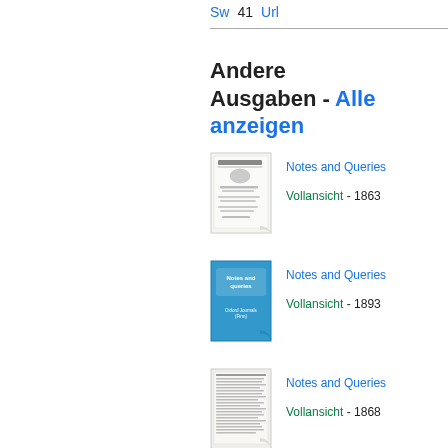Sw   41   Url
Andere Ausgaben - Alle anzeigen
[Figure (illustration): Thumbnail of Notes and Queries book cover, 1863 edition, old printed document style]
Notes and Queries
Vollansicht - 1863
[Figure (illustration): Thumbnail of Notes and Queries book cover, 1893 edition, blue cover with Oxford Journals (Firm) text]
Notes and Queries
Vollansicht - 1893
[Figure (illustration): Thumbnail of Notes and Queries book cover, 1868 edition, printed text layout]
Notes and Queries
Vollansicht - 1868